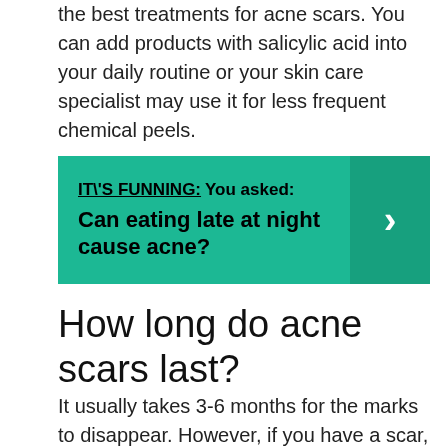the best treatments for acne scars. You can add products with salicylic acid into your daily routine or your skin care specialist may use it for less frequent chemical peels.
IT\'S FUNNING: You asked: Can eating late at night cause acne?
How long do acne scars last?
It usually takes 3-6 months for the marks to disappear. However, if you have a scar, you’re dealing with permanent skin damage that needs treatment in order to disappear. An acne scar changes the texture of the skin. If acne has left indentations, or raised spots,